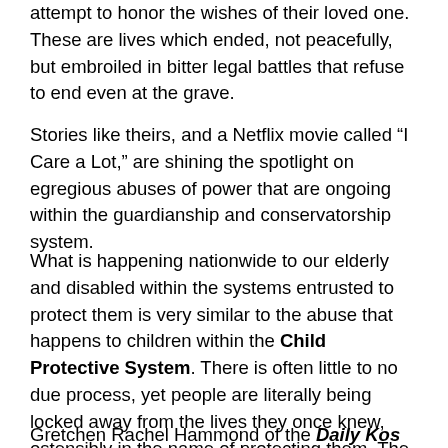attempt to honor the wishes of their loved one. These are lives which ended, not peacefully, but embroiled in bitter legal battles that refuse to end even at the grave.
Stories like theirs, and a Netflix movie called “I Care a Lot,” are shining the spotlight on egregious abuses of power that are ongoing within the guardianship and conservatorship system.
What is happening nationwide to our elderly and disabled within the systems entrusted to protect them is very similar to the abuse that happens to children within the Child Protective System. There is often little to no due process, yet people are literally being locked away from the lives they once knew, ostensibly in the name of protecting them. The ease with which this happens is shocking.
Gretchen Rachel Hammond of the Daily Kos says: